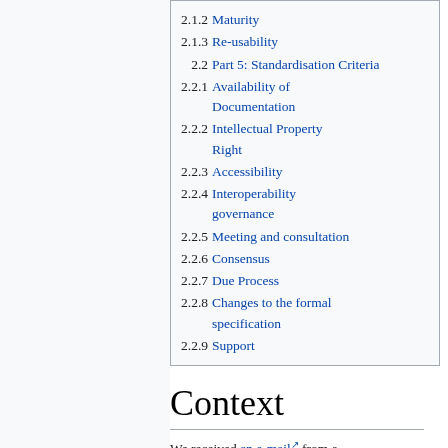2.1.2 Maturity
2.1.3 Re-usability
2.2 Part 5: Standardisation Criteria
2.2.1 Availability of Documentation
2.2.2 Intellectual Property Right
2.2.3 Accessibility
2.2.4 Interoperability governance
2.2.5 Meeting and consultation
2.2.6 Consensus
2.2.7 Due Process
2.2.8 Changes to the formal specification
2.2.9 Support
Context
We received an e-mail from a